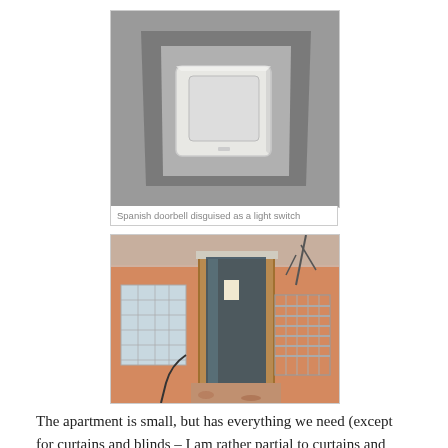[Figure (photo): A white square light switch mounted on a grey concrete wall, serving as a doorbell in Spain.]
Spanish doorbell disguised as a light switch
[Figure (photo): Exterior of an apartment building showing a glass/wood door entrance and a window with glass blocks, orange/terracotta walls, with a metal basket/crate visible on the right.]
The apartment is small, but has everything we need (except for curtains and blinds – I am rather partial to curtains and blinds). There was a blind over the door to the balcony, which took us longer than you might think to work out (practial Cousin C